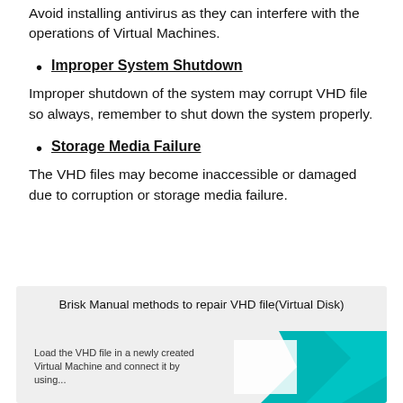Avoid installing antivirus as they can interfere with the operations of Virtual Machines.
Improper System Shutdown
Improper shutdown of the system may corrupt VHD file so always, remember to shut down the system properly.
Storage Media Failure
The VHD files may become inaccessible or damaged due to corruption or storage media failure.
[Figure (infographic): Infographic box titled 'Brisk Manual methods to repair VHD file(Virtual Disk)' with teal geometric shapes and text 'Load the VHD file in a newly created Virtual Machine and connect it by using...']